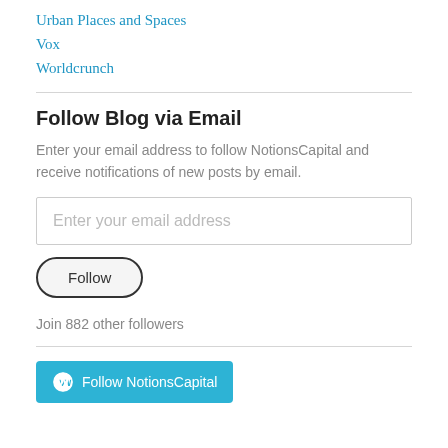Urban Places and Spaces
Vox
Worldcrunch
Follow Blog via Email
Enter your email address to follow NotionsCapital and receive notifications of new posts by email.
Enter your email address
Follow
Join 882 other followers
Follow NotionsCapital